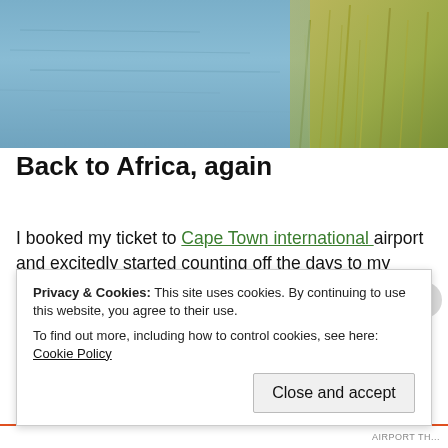[Figure (photo): Landscape photo showing blue water/lake in the upper portion and golden/green reeds or grassland on the right side, suggesting an African nature scene.]
Back to Africa, again
I booked my ticket to Cape Town international airport and excitedly started counting off the days to my departure. After doing some research I discovered that the flower route lies along the N7, and that an escorted flower tour is highly recommended. As always, I preferred doing my own thing and, instead of joining a group of tourists, rented a four-wheel drive c... n...
Privacy & Cookies: This site uses cookies. By continuing to use this website, you agree to their use.
To find out more, including how to control cookies, see here: Cookie Policy
Close and accept